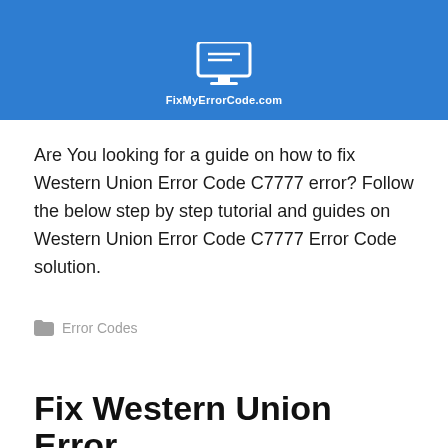[Figure (logo): Blue banner header with a monitor/screen icon and the text FixMyErrorCode.com in white]
Are You looking for a guide on how to fix Western Union Error Code C7777 error? Follow the below step by step tutorial and guides on Western Union Error Code C7777 Error Code solution.
Error Codes
Fix Western Union Error